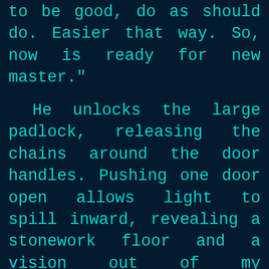to be good, do as should do. Easier that way. So, now is ready for new master."
He unlocks the large padlock, releasing the chains around the door handles. Pushing one door open allows light to spill inward, revealing a stonework floor and a vision out of my fantasies.
It's there, just as I had asked for. The slender, svelte, smooth lines being revealed as the shadow of the opening second door moves across it. And a perfect age, I note. In all the glory of its design it sits there,